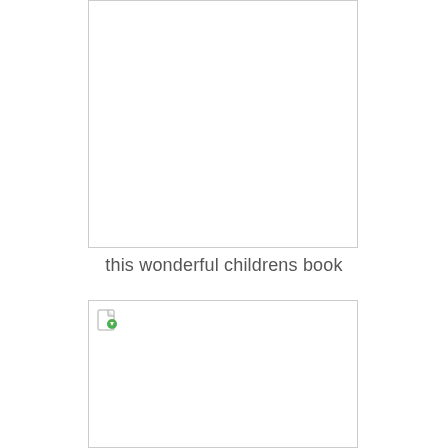[Figure (illustration): Large white/blank image placeholder with light gray border — top image box, no content visible]
this wonderful childrens book
[Figure (photo): Second image placeholder with a broken image icon (small document with green leaf/arrow) in the top-left corner, light gray border]